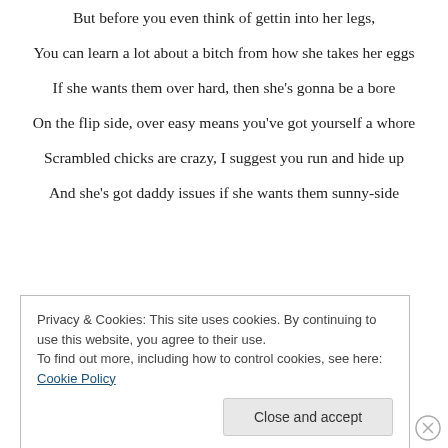But before you even think of gettin into her legs,
You can learn a lot about a bitch from how she takes her eggs
If she wants them over hard, then she's gonna be a bore
On the flip side, over easy means you've got yourself a whore
Scrambled chicks are crazy, I suggest you run and hide up
And she's got daddy issues if she wants them sunny-side
Privacy & Cookies: This site uses cookies. By continuing to use this website, you agree to their use. To find out more, including how to control cookies, see here: Cookie Policy
Close and accept